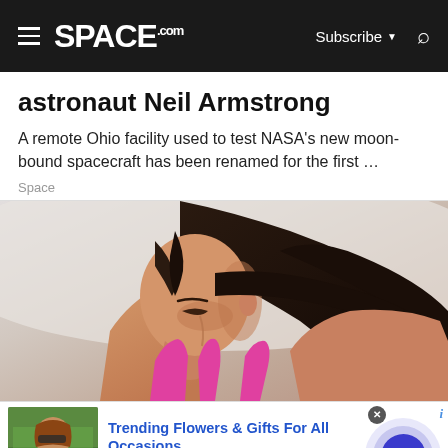SPACE.com — Subscribe — Search
astronaut Neil Armstrong
A remote Ohio facility used to test NASA's new moon-bound spacecraft has been renamed for the first …
Space
[Figure (photo): Close-up photo of a young woman with dark hair in a ponytail, wearing a pink sports bra, looking down]
[Figure (photo): Advertisement thumbnail showing a woman with flowers]
Trending Flowers & Gifts For All Occasions
Shop The Collection
www.1800flowers.com